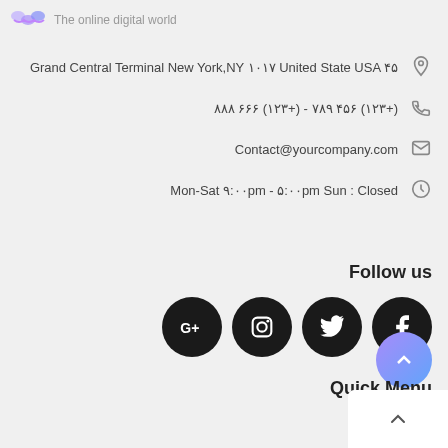[Figure (logo): Colorful wavy logo icon with tagline 'The online digital world']
Grand Central Terminal New York,NY ۱۰۱۷ United State USA ۴۵
۸۸۸ ۶۶۶ (۱۲۳+) - ۷۸۹ ۴۵۶ (۱۲۳+)
Contact@yourcompany.com
Mon-Sat ۹:۰۰pm - ۵:۰۰pm Sun : Closed
Follow us
[Figure (illustration): Four black circular social media icons: Google+, Instagram, Twitter, Facebook]
Quick Menu
TV &